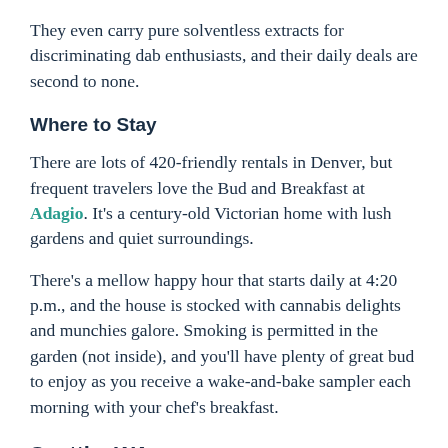They even carry pure solventless extracts for discriminating dab enthusiasts, and their daily deals are second to none.
Where to Stay
There are lots of 420-friendly rentals in Denver, but frequent travelers love the Bud and Breakfast at Adagio. It’s a century-old Victorian home with lush gardens and quiet surroundings.
There’s a mellow happy hour that starts daily at 4:20 p.m., and the house is stocked with cannabis delights and munchies galore. Smoking is permitted in the garden (not inside), and you’ll have plenty of great bud to enjoy as you receive a wake-and-bake sampler each morning with your chef’s breakfast.
Seattle, WA